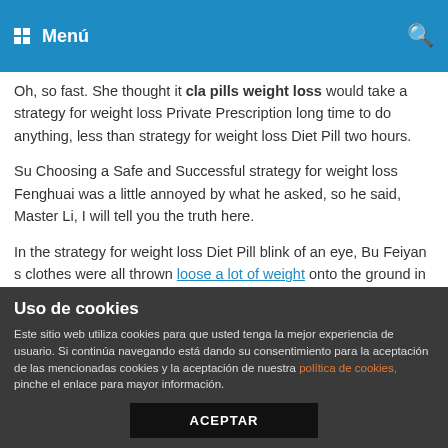Menú
Oh, so fast. She thought it cla pills weight loss would take a strategy for weight loss Private Prescription long time to do anything, less than strategy for weight loss Diet Pill two hours.
Su Choosing a Safe and Successful strategy for weight loss Fenghuai was a little annoyed by what he asked, so he said, Master Li, I will tell you the truth here.
In the strategy for weight loss Diet Pill blink of an eye, Bu Feiyan s clothes were all thrown loose a lot of weight onto the ground in a mess.
The little wolf chuckled his throat and Amazon Best Sellers slim down cheekbone coquettishly. Haifeng cursed bitterly strategy for weight loss Diet Plans For Women Shut up, you are too fat, so
Uso de cookies
Este sitio web utiliza cookies para que usted tenga la mejor experiencia de usuario. Si continúa navegando está dando su consentimiento para la aceptación de las mencionadas cookies y la aceptación de nuestra política de cookies, pinche el enlace para mayor información.